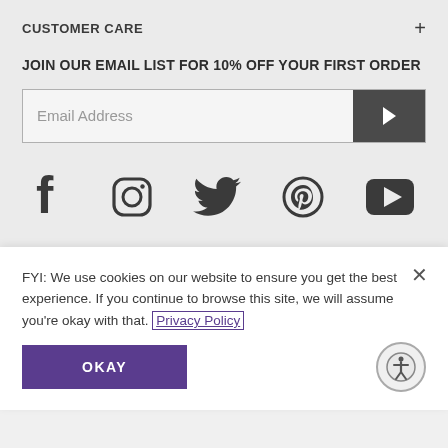CUSTOMER CARE
JOIN OUR EMAIL LIST FOR 10% OFF YOUR FIRST ORDER
[Figure (screenshot): Email address input field with a dark submit arrow button on the right]
[Figure (infographic): Social media icons: Facebook, Instagram, Twitter, Pinterest, YouTube]
FYI: We use cookies on our website to ensure you get the best experience. If you continue to browse this site, we will assume you're okay with that. Privacy Policy
OKAY